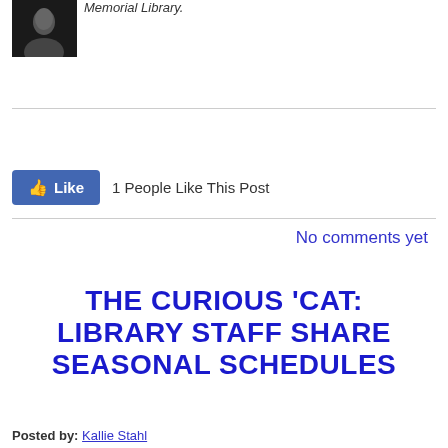[Figure (photo): Black and white profile photo of a person]
Memorial Library.
1 People Like This Post
No comments yet
THE CURIOUS 'CAT: LIBRARY STAFF SHARE SEASONAL SCHEDULES
Posted by: Kallie Stahl